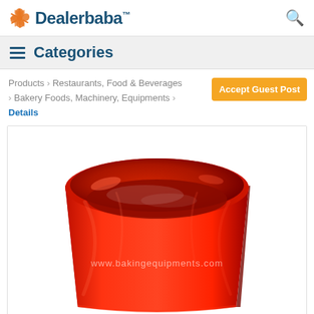Dealerbaba™
≡  Categories
Products › Restaurants, Food & Beverages › Bakery Foods, Machinery, Equipments › Details
Accept Guest Post
[Figure (photo): A red round silicone baking mold/pan viewed from above at an angle, showing cylindrical shape with smooth interior. Watermark reads www.bakingequipments.com]